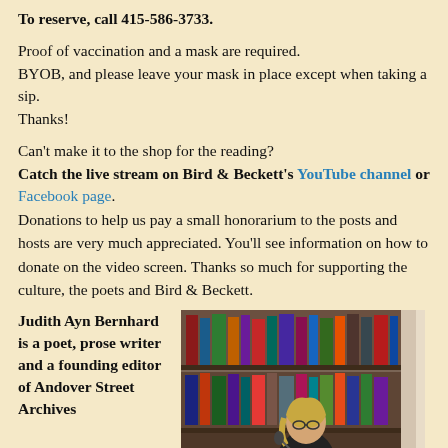To reserve, call 415-586-3733.
Proof of vaccination and a mask are required.
BYOB, and please leave your mask in place except when taking a sip.
Thanks!
Can't make it to the shop for the reading?
Catch the live stream on Bird & Beckett's YouTube channel or Facebook page.
Donations to help us pay a small honorarium to the posts and hosts are very much appreciated. You'll see information on how to donate on the video screen. Thanks so much for supporting the culture, the poets and Bird & Beckett.
Judith Ayn Bernhard is a poet, prose writer and a founding editor of Andover Street Archives
[Figure (photo): Woman with blonde hair reading at a podium in front of bookshelves, with a microphone visible]